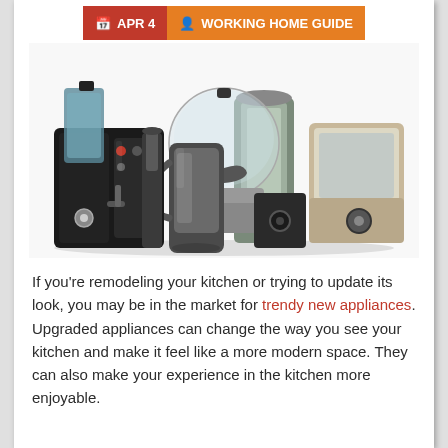APR 4  WORKING HOME GUIDE
[Figure (photo): Group of modern kitchen appliances including a blender/coffee machine combo, electric kettle, food processor, and other small appliances arranged together on a white background.]
If you're remodeling your kitchen or trying to update its look, you may be in the market for trendy new appliances. Upgraded appliances can change the way you see your kitchen and make it feel like a more modern space. They can also make your experience in the kitchen more enjoyable.